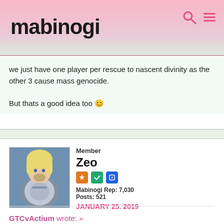mabinogi
we just have one player per rescue to nascent divinity as the other 3 cause mass genocide.

But thats a good idea too 😊
Member
Zeo
Mabinogi Rep: 7,030
Posts: 521
JANUARY 25, 2019
GTCvActium wrote: »
Also a tip for Revived Illusion. During the "rescue the hostage" rooms having all 4 members in the circle will